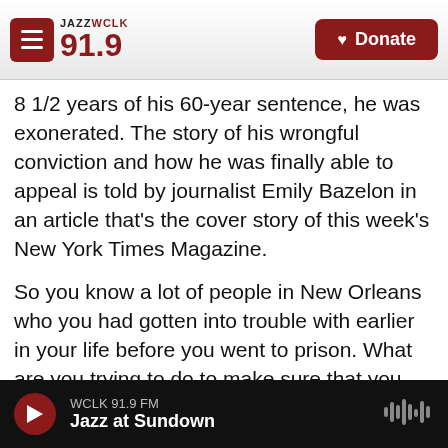[Figure (screenshot): JAZZ WCLK 91.9 FM radio station website header with logo and Donate button]
8 1/2 years of his 60-year sentence, he was exonerated. The story of his wrongful conviction and how he was finally able to appeal is told by journalist Emily Bazelon in an article that's the cover story of this week's New York Times Magazine.
So you know a lot of people in New Orleans who you had gotten into trouble with earlier in your life before you went to prison. What are you trying to do to make sure that you don't get back into that life? I know you want to, like, move to Atlanta. What - are there obstacles standing in your way of doing that?
WCLK 91.9 FM  Jazz at Sundown